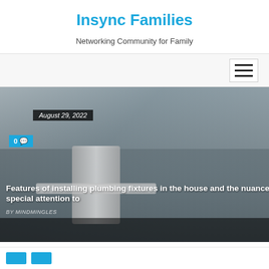Insync Families
Networking Community for Family
[Figure (screenshot): Website screenshot showing Insync Families blog with three article cards: (1) Features of installing plumbing fixtures in the house and the nuances that you need to pay special attention to - August 29, 2022 - By MINDMINGLES; (2) Why Students Intellectual to Learn - August 19, 2022 - By MINDMINGLES; (3) A Complete Understanding Mastering Content Writing - August 2, 2022 - By MINDMINGLES. Cards are displayed with diagonal/angled clip styling.]
Features of installing plumbing fixtures in the house and the nuances that you need to pay special attention to
Why Students Intellectual to Learn
A Complete Understanding Mastering Content Writing